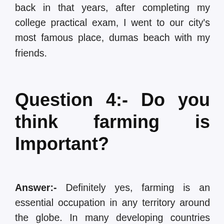back in that years, after completing my college practical exam, I went to our city's most famous place, dumas beach with my friends.
Question 4:- Do you think farming is Important?
Answer:- Definitely yes, farming is an essential occupation in any territory around the globe. In many developing countries majority of the economy and their citizen depends on the agriculture